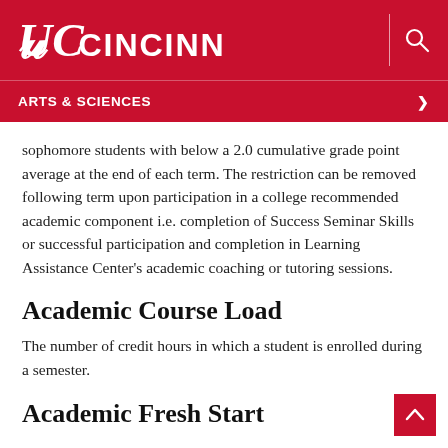UC CINCINNATI
ARTS & SCIENCES
sophomore students with below a 2.0 cumulative grade point average at the end of each term. The restriction can be removed following term upon participation in a college recommended academic component i.e. completion of Success Seminar Skills or successful participation and completion in Learning Assistance Center's academic coaching or tutoring sessions.
Academic Course Load
The number of credit hours in which a student is enrolled during a semester.
Academic Fresh Start